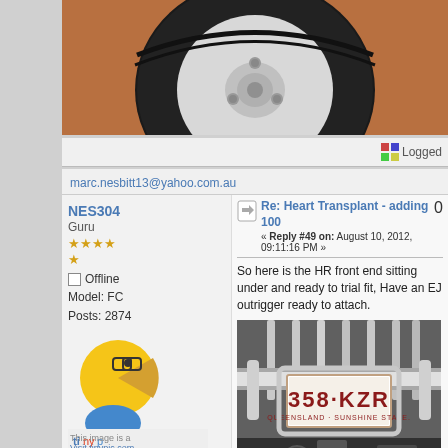[Figure (photo): Partial photo of a car tire and wheel, cropped at top of page]
Logged
marc.nesbitt13@yahoo.com.au
NES304
Guru
Offline
Model: FC
Posts: 2874
[Figure (illustration): Cartoon character avatar (Pac-Man style) and tinypic.com logo/watermark]
Yes Dear
Re: Heart Transplant - adding 100
« Reply #49 on: August 10, 2012, 09:11:16 PM »
0
So here is the HR front end sitting under and ready to trial fit, Have an EJ outrigger ready to attach.
[Figure (photo): Photo of a chrome car front grille with a Queensland number plate reading 358-KZR QUEENSLAND - SUNSHINE STATE]